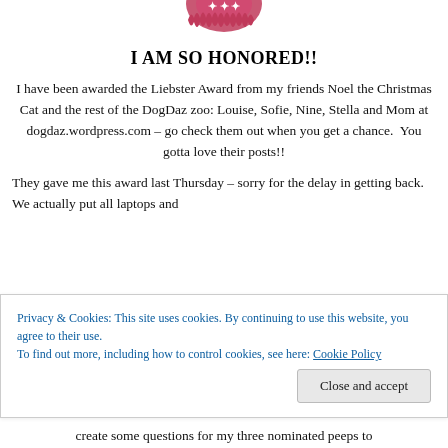[Figure (illustration): Pink/red flower or award badge logo partially visible at the top center of the page]
I AM SO HONORED!!
I have been awarded the Liebster Award from my friends Noel the Christmas Cat and the rest of the DogDaz zoo: Louise, Sofie, Nine, Stella and Mom at dogdaz.wordpress.com – go check them out when you get a chance.  You gotta love their posts!!
They gave me this award last Thursday – sorry for the delay in getting back.  We actually put all laptops and
Privacy & Cookies: This site uses cookies. By continuing to use this website, you agree to their use.
To find out more, including how to control cookies, see here: Cookie Policy
create some questions for my three nominated peeps to